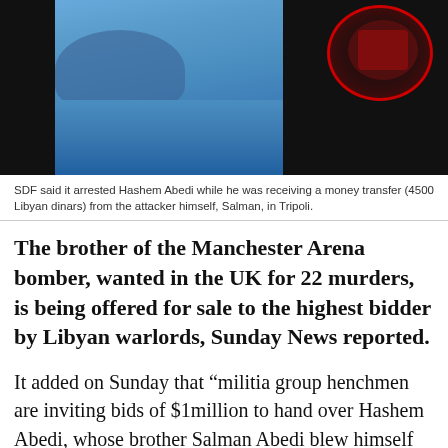[Figure (photo): Photo of Hashem Abedi in a blue shirt against a dark background with a logo/emblem visible in the upper right]
SDF said it arrested Hashem Abedi while he was receiving a money transfer (4500 Libyan dinars) from the attacker himself, Salman, in Tripoli.
The brother of the Manchester Arena bomber, wanted in the UK for 22 murders, is being offered for sale to the highest bidder by Libyan warlords, Sunday News reported.
It added on Sunday that “militia group henchmen are inviting bids of $1million to hand over Hashem Abedi, whose brother Salman Abedi blew himself up at an Ariana Grande concert on May 22 last year, killing 22